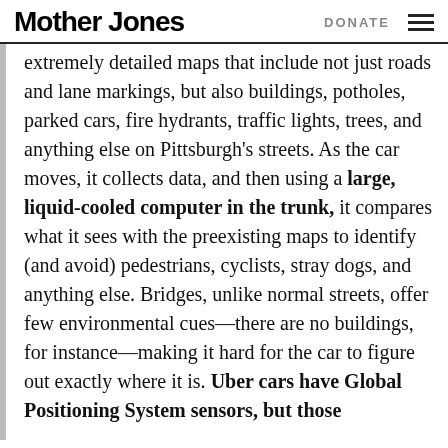Mother Jones   DONATE
extremely detailed maps that include not just roads and lane markings, but also buildings, potholes, parked cars, fire hydrants, traffic lights, trees, and anything else on Pittsburgh's streets. As the car moves, it collects data, and then using a large, liquid-cooled computer in the trunk, it compares what it sees with the preexisting maps to identify (and avoid) pedestrians, cyclists, stray dogs, and anything else. Bridges, unlike normal streets, offer few environmental cues—there are no buildings, for instance—making it hard for the car to figure out exactly where it is. Uber cars have Global Positioning System sensors, but those